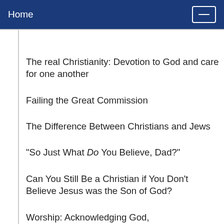Home
The real Christianity: Devotion to God and care for one another
Failing the Great Commission
The Difference Between Christians and Jews
"So Just What Do You Believe, Dad?"
Can You Still Be a Christian if You Don't Believe Jesus was the Son of God?
Worship: Acknowledging God,